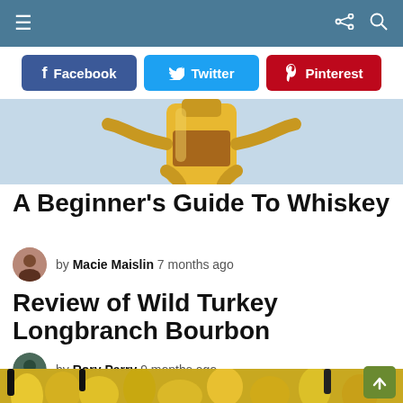≡  [share] [search]
[Figure (screenshot): Social share buttons: Facebook, Twitter, Pinterest]
[Figure (illustration): Cartoon whiskey bottle illustration on light blue background]
A Beginner's Guide To Whiskey
by Macie Maislin  7 months ago
Review of Wild Turkey Longbranch Bourbon
by Rory Parry  9 months ago
[Figure (photo): Photo of whiskey bottles among yellow background, partially visible at bottom of page]